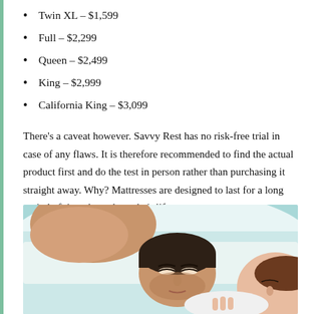Twin XL – $1,599
Full – $2,299
Queen – $2,499
King – $2,999
California King – $3,099
There's a caveat however. Savvy Rest has no risk-free trial in case of any flaws. It is therefore recommended to find the actual product first and do the test in person rather than purchasing it straight away. Why? Mattresses are designed to last for a long period of time throughout their lifespan.
[Figure (photo): A couple sleeping closely together on white bedding, photographed from above at close range.]